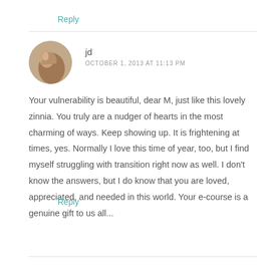Reply
[Figure (photo): Circular avatar photo of a person's profile, showing side of face]
jd
OCTOBER 1, 2013 AT 11:13 PM
Your vulnerability is beautiful, dear M, just like this lovely zinnia. You truly are a nudger of hearts in the most charming of ways. Keep showing up. It is frightening at times, yes. Normally I love this time of year, too, but I find myself struggling with transition right now as well. I don't know the answers, but I do know that you are loved, appreciated, and needed in this world. Your e-course is a genuine gift to us all...
Reply